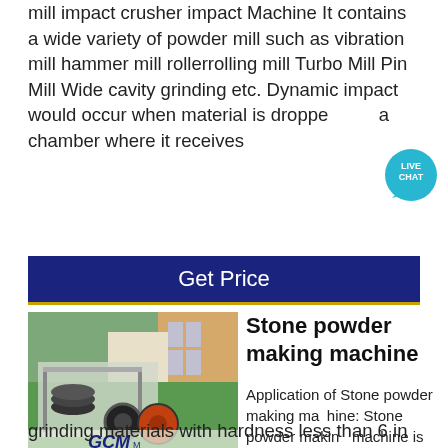mill impact crusher impact Machine It contains a wide variety of powder mill such as vibration mill hammer mill rollerrolling mill Turbo Mill Pin Mill Wide cavity grinding etc. Dynamic impact would occur when material is dropped a chamber where it receives
[Figure (other): Live Chat badge icon in teal/cyan circle]
Get Price
[Figure (photo): Photo of GCM stone powder making machine equipment on green lawn with GCM MACHINERY logo]
Stone powder making machine
Application of Stone powder making machine: Stone powder making machine is for super-fine grinding materials with hardness less than 6 in Mohs scale and humidity less than 6 percent such as kaolin, limestone, basalt, calcite, marble, talcum, barite, gypsum, dolomite, bentonite mud, mica, pyrophyllite, sepiolite, carbon black, diatomite, graphite, alunite, fluorite, potassium feldspar